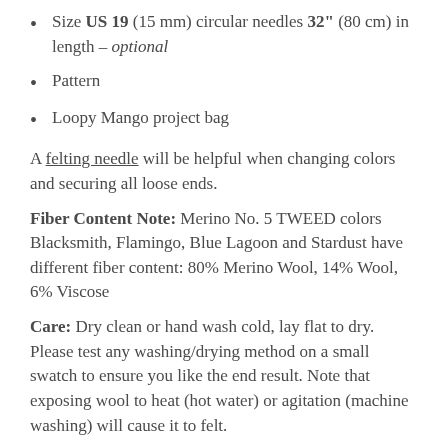Size US 19 (15 mm) circular needles 32" (80 cm) in length – optional
Pattern
Loopy Mango project bag
A felting needle will be helpful when changing colors and securing all loose ends.
Fiber Content Note: Merino No. 5 TWEED colors Blacksmith, Flamingo, Blue Lagoon and Stardust have different fiber content: 80% Merino Wool, 14% Wool, 6% Viscose
Care: Dry clean or hand wash cold, lay flat to dry. Please test any washing/drying method on a small swatch to ensure you like the end result. Note that exposing wool to heat (hot water) or agitation (machine washing) will cause it to felt.
Yarn made in Italy, kit assembled in the USA.